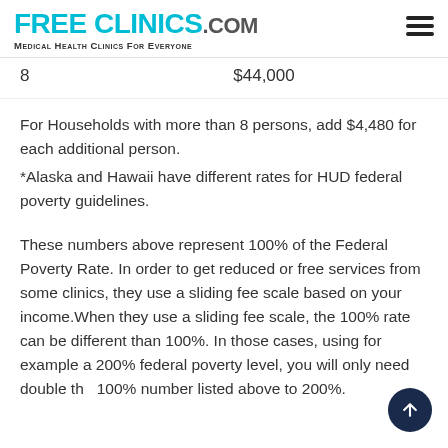FREE CLINICS.COM - Medical Health Clinics For Everyone
| 8 | $44,000 |
For Households with more than 8 persons, add $4,480 for each additional person.
*Alaska and Hawaii have different rates for HUD federal poverty guidelines.
These numbers above represent 100% of the Federal Poverty Rate. In order to get reduced or free services from some clinics, they use a sliding fee scale based on your income.When they use a sliding fee scale, the 100% rate can be different than 100%. In those cases, using for example a 200% federal poverty level, you will only need double the 100% number listed above to 200%.